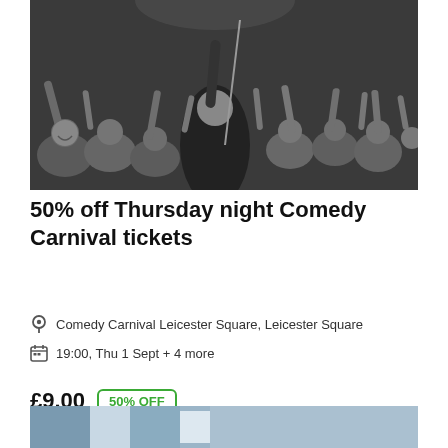[Figure (photo): Black and white photo of a comedian on stage viewed from behind, raising his arm toward a large enthusiastic crowd with hands raised]
50% off Thursday night Comedy Carnival tickets
Comedy Carnival Leicester Square, Leicester Square
19:00, Thu 1 Sept + 4 more
£9.00  50% OFF
[Figure (photo): Partial bottom strip of another event image]